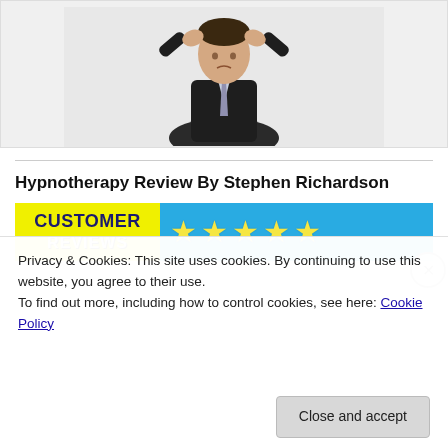[Figure (photo): Man in dark suit with hands on head, appearing stressed, white background]
Hypnotherapy Review By Stephen Richardson
[Figure (infographic): Customer Reviews banner with yellow CUSTOMER label and 4+ yellow stars on blue background]
Privacy & Cookies: This site uses cookies. By continuing to use this website, you agree to their use.
To find out more, including how to control cookies, see here: Cookie Policy